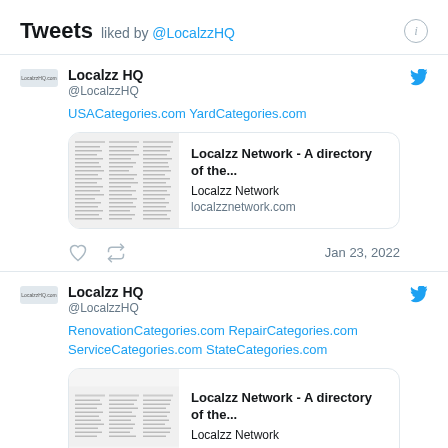Tweets liked by @LocalzzHQ
Localzz HQ @LocalzzHQ USACategories.com YardCategories.com
[Figure (screenshot): Thumbnail of Localzz Network directory listing page]
Localzz Network - A directory of the...
Localzz Network
localzznetwork.com
Jan 23, 2022
Localzz HQ @LocalzzHQ RenovationCategories.com RepairCategories.com ServiceCategories.com StateCategories.com
[Figure (screenshot): Thumbnail of Localzz Network directory listing page (second tweet)]
Localzz Network - A directory of the...
Localzz Network